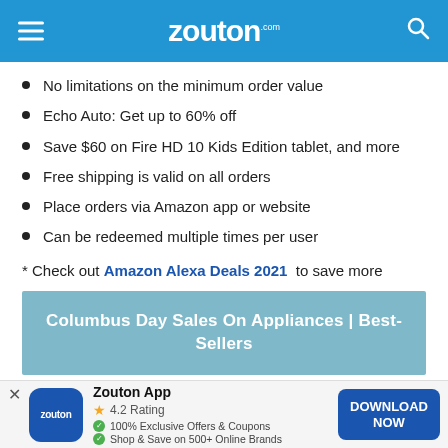zouton.com
No limitations on the minimum order value
Echo Auto: Get up to 60% off
Save $60 on Fire HD 10 Kids Edition tablet, and more
Free shipping is valid on all orders
Place orders via Amazon app or website
Can be redeemed multiple times per user
* Check out Amazon Alexa Deals 2021 to save more
[Figure (infographic): Columbus Day Sales On Appliances | Best-Sellers promotional banner in teal/blue-grey color]
Zouton App — 4.2 Rating — 100% Exclusive Offers & Coupons — Shop & Save on 500+ Online Brands — DOWNLOAD NOW